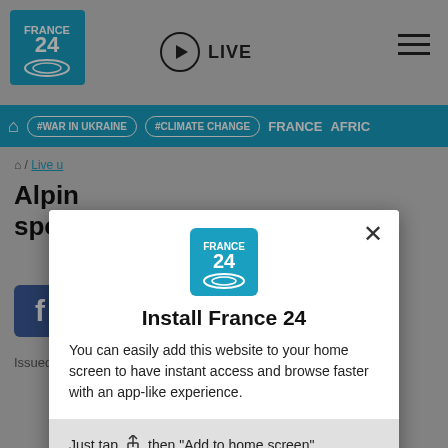[Figure (screenshot): France 24 website header with logo, LIVE button, hamburger menu, navigation bar with #WAR IN UKRAINE, #CLIMATE CHANGE, FRANCE, AFRIC tags, and background article content about Alpine sports]
Install France 24
You can easily add this website to your home screen to have instant access and browse faster with an app-like experience.
Just tap then "Add to home screen"